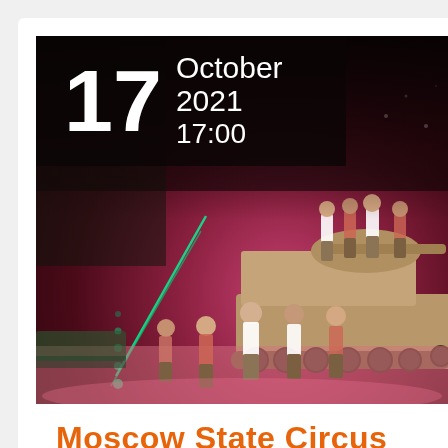[Figure (photo): Circus performers standing around and on top of a military tank (T-34 style) on a circus stage with pink/magenta lighting and green laser beams in the background. Performers wear white shirts and military-style khaki pants.]
17 October 2021 17:00
Moscow State Circus